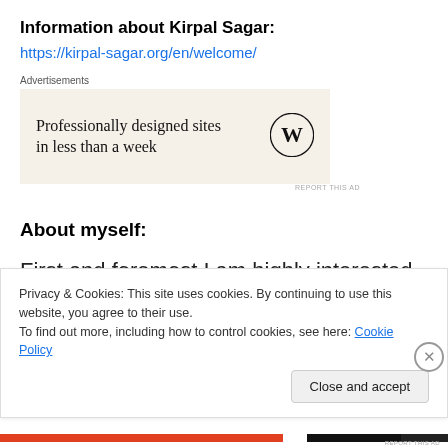Information about Kirpal Sagar:
https://kirpal-sagar.org/en/welcome/
[Figure (other): Advertisement box with text 'Professionally designed sites in less than a week' and WordPress logo on beige background]
About myself:
First and foremost I am highly interested in
Privacy & Cookies: This site uses cookies. By continuing to use this website, you agree to their use.
To find out more, including how to control cookies, see here: Cookie Policy